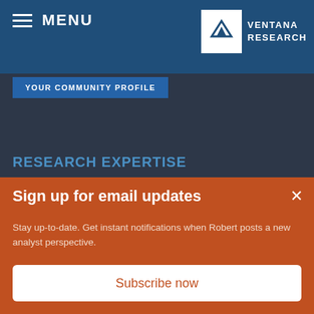MENU
[Figure (logo): Ventana Research logo — white box with stylized V mark and text VENTANA RESEARCH]
YOUR COMMUNITY PROFILE
RESEARCH EXPERTISE
Analytics | Customer Experience | Data | Digital Business | Digital Technology | Human Capital Management | Marketing |
Sign up for email updates
Stay up-to-date. Get instant notifications when Robert posts a new analyst perspective.
Subscribe now